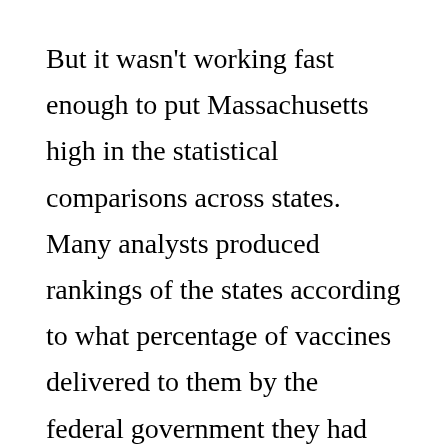But it wasn't working fast enough to put Massachusetts high in the statistical comparisons across states.  Many analysts produced rankings of the states according to what percentage of vaccines delivered to them by the federal government they had administered.

The national average was 54% in late January and it has already risen to 76%.   All the states are looking better and better on this metric as